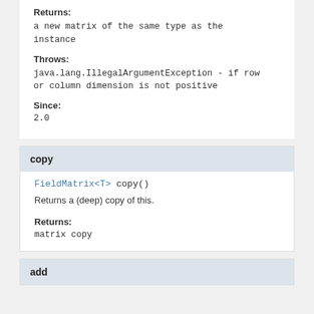Returns:
a new matrix of the same type as the instance
Throws:
java.lang.IllegalArgumentException - if row or column dimension is not positive
Since:
2.0
copy
FieldMatrix<T> copy()
Returns a (deep) copy of this.
Returns:
matrix copy
add